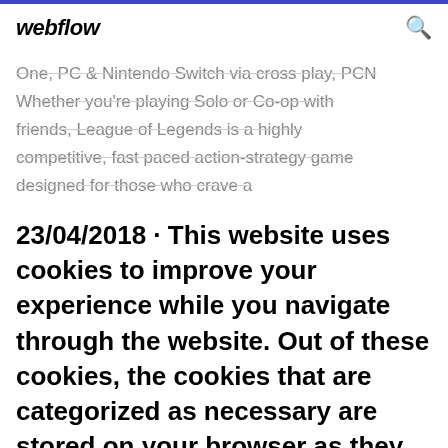webflow
One, PC & Nintendo Switch via cross-play, PCN Whether you're playing Solo or Co-op with friends, League of Legends is a highly competitive, fast paced action-strategy game designed for those who crave a
23/04/2018 · This website uses cookies to improve your experience while you navigate through the website. Out of these cookies, the cookies that are categorized as necessary are stored on your browser as they are essential for the working of